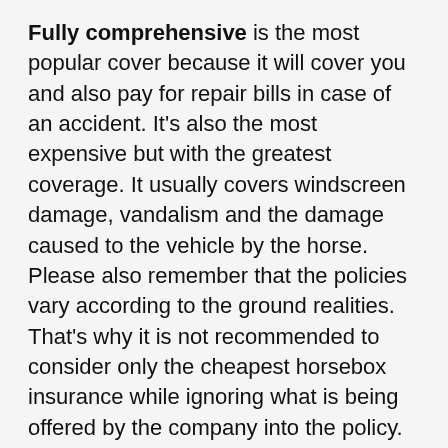Fully comprehensive is the most popular cover because it will cover you and also pay for repair bills in case of an accident. It's also the most expensive but with the greatest coverage. It usually covers windscreen damage, vandalism and the damage caused to the vehicle by the horse. Please also remember that the policies vary according to the ground realities. That's why it is not recommended to consider only the cheapest horsebox insurance while ignoring what is being offered by the company into the policy.
The third-party policy usually covers the cost of the other party if you have an accident which is your fault, You